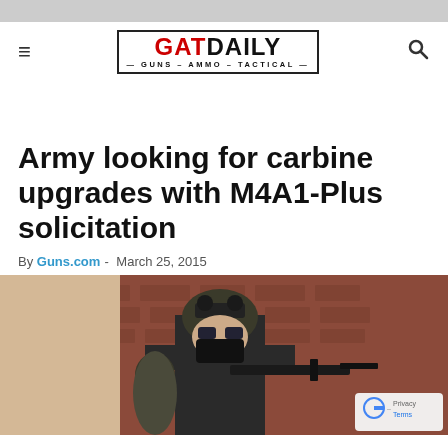GATDAILY — GUNS – AMMO – TACTICAL
Army looking for carbine upgrades with M4A1-Plus solicitation
By Guns.com - March 25, 2015
[Figure (photo): Tactical soldier in full gear with helmet, face mask, and rifle, standing in front of a brick wall]